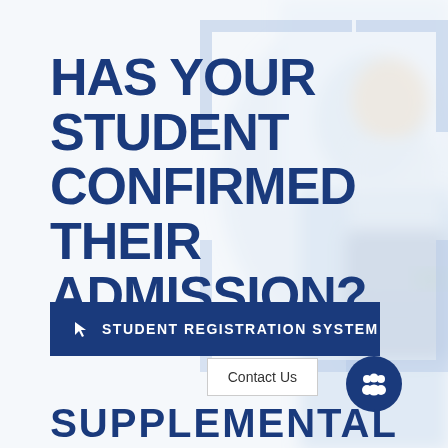[Figure (photo): Blurred background photo of students/people with blue and white tones, partially visible on the right side of the page]
HAS YOUR STUDENT CONFIRMED THEIR ADMISSION?
STUDENT REGISTRATION SYSTEM
Contact Us
SUPPLEMENTAL